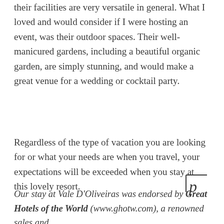their facilities are very versatile in general. What I loved and would consider if I were hosting an event, was their outdoor spaces. Their well-manicured gardens, including a beautiful organic garden, are simply stunning, and would make a great venue for a wedding or cocktail party.
Regardless of the type of vacation you are looking for or what your needs are when you travel, your expectations will be exceeded when you stay at this lovely resort.
Our stay at Vale D'Oliveiras was endorsed by Great Hotels of the World (www.ghotw.com), a renowned sales and